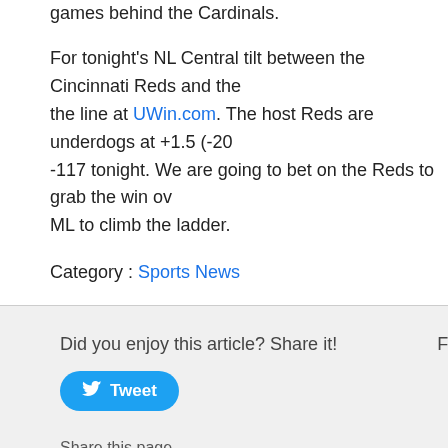games behind the Cardinals.
For tonight's NL Central tilt between the Cincinnati Reds and the the line at UWin.com. The host Reds are underdogs at +1.5 (-20 -117 tonight. We are going to bet on the Reds to grab the win ov ML to climb the ladder.
Category : Sports News
Did you enjoy this article? Share it!
Follow us!
[Figure (other): Tweet button with Twitter bird icon]
Share this page
https://www.onlinebettingcanada.ca
More Articles